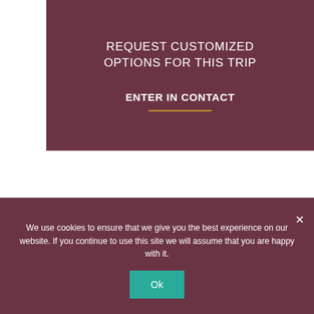REQUEST CUSTOMIZED OPTIONS FOR THIS TRIP
ENTER IN CONTACT
We use cookies to ensure that we give you the best experience on our website. If you continue to use this site we will assume that you are happy with it.